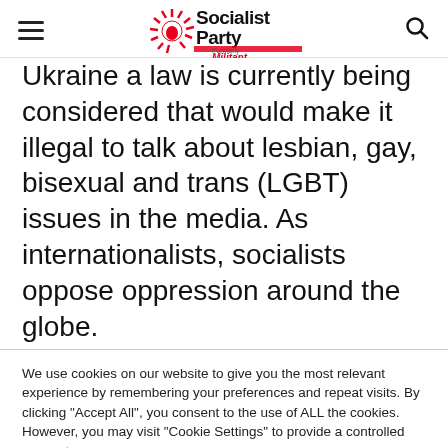Socialist Party – Formerly Militant
Ukraine a law is currently being considered that would make it illegal to talk about lesbian, gay, bisexual and trans (LGBT) issues in the media. As internationalists, socialists oppose oppression around the globe.
We use cookies on our website to give you the most relevant experience by remembering your preferences and repeat visits. By clicking "Accept All", you consent to the use of ALL the cookies. However, you may visit "Cookie Settings" to provide a controlled consent.